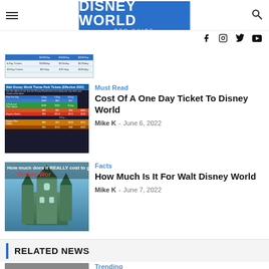DISNEY WORLD PRO GUIDE
[Figure (screenshot): Partial table/image strip showing Disney World ticket pricing table (cropped, partially visible)]
[Figure (screenshot): Walt Disney World Theme Park Tickets table showing per-day prices for various ticket options]
Must Read
Cost Of A One Day Ticket To Disney World
Mike K  -  June 6, 2022
[Figure (photo): Photo showing Disney castle with text 'How much does it REALLY cost to go to Disney World']
Facts
How Much Is It For Walt Disney World
Mike K  -  June 7, 2022
RELATED NEWS
Trending